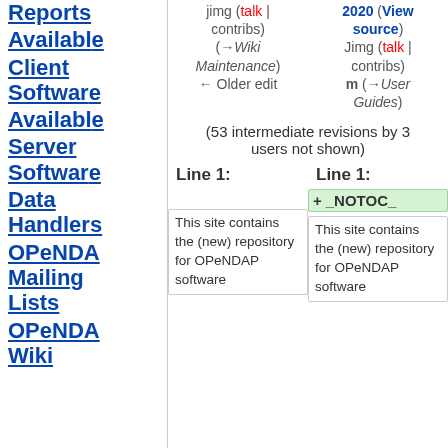Reports
Available Client Software
Available Server Software
Data Handlers
OPeNDA Mailing Lists
OPeNDA Wiki
jimg (talk | contribs) (→Wiki Maintenance) ← Older edit
2020 (View source) Jimg (talk | contribs) m (→User Guides)
(53 intermediate revisions by 3 users not shown)
Line 1:
Line 1:
_NOTOC_
This site contains the (new) repository for OPeNDAP software
This site contains the (new) repository for OPeNDAP software